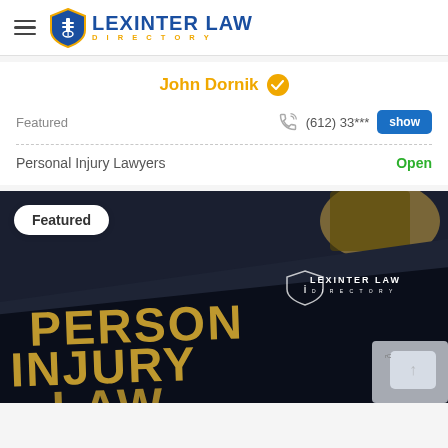Lexinter Law Directory
John Dornik
Featured | (612) 33*** show
Personal Injury Lawyers | Open
[Figure (photo): Dark background image showing a law book with 'PERSONAL INJURY LAW' in gold text, Lexinter Law Directory logo overlay, Featured pill badge, and a scroll-to-top button in bottom right corner.]